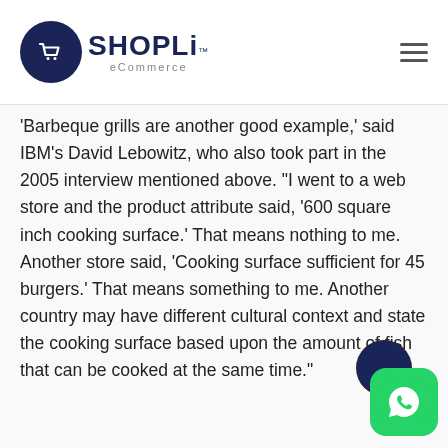SHOPLi eCommerce
'Barbeque grills are another good example,' said IBM's David Lebowitz, who also took part in the 2005 interview mentioned above. "I went to a web store and the product attribute said, '600 square inch cooking surface.' That means nothing to me. Another store said, 'Cooking surface sufficient for 45 burgers.' That means something to me. Another country may have different cultural context and state the cooking surface based upon the amount of fish that can be cooked at the same time."
[Figure (logo): WhatsApp floating action button (green rounded square with white phone icon) with dark navy circle partially behind it]